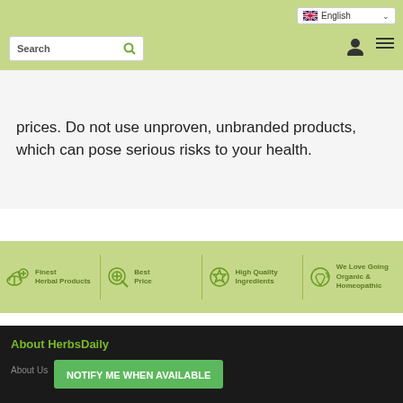[Figure (screenshot): Website header with green background, language selector showing English with UK flag, search box, user icon, and menu icon]
prices. Do not use unproven, unbranded products, which can pose serious risks to your health.
[Figure (infographic): Green feature bar with four icons and labels: Finest Herbal Products, Best Price, High Quality Ingredients, We Love Going Organic & Homeopathic]
About HerbsDaily
About Us
[Figure (screenshot): Green button labeled NOTIFY ME WHEN AVAILABLE]